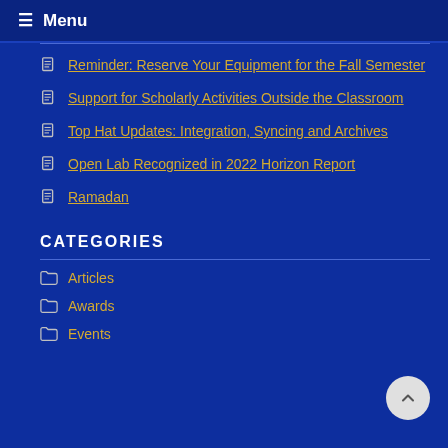≡ Menu
Reminder: Reserve Your Equipment for the Fall Semester
Support for Scholarly Activities Outside the Classroom
Top Hat Updates: Integration, Syncing and Archives
Open Lab Recognized in 2022 Horizon Report
Ramadan
CATEGORIES
Articles
Awards
Events